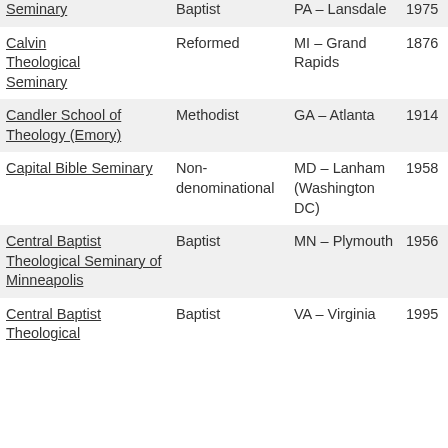| Name | Denomination | Location | Founded |
| --- | --- | --- | --- |
| Seminary | Baptist | PA – Lansdale | 1975 |
| Calvin Theological Seminary | Reformed | MI – Grand Rapids | 1876 |
| Candler School of Theology (Emory) | Methodist | GA – Atlanta | 1914 |
| Capital Bible Seminary | Non-denominational | MD – Lanham (Washington DC) | 1958 |
| Central Baptist Theological Seminary of Minneapolis | Baptist | MN – Plymouth | 1956 |
| Central Baptist Theological | Baptist | VA – Virginia | 1995 |